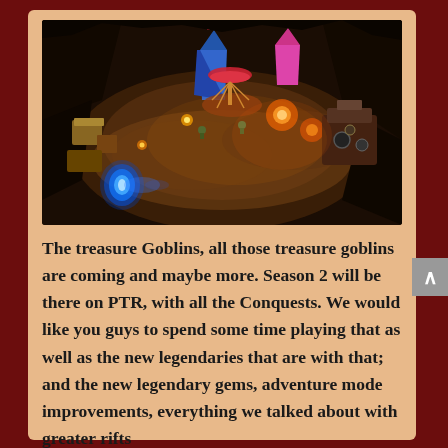[Figure (screenshot): Aerial/isometric top-down view of a fantasy game scene (Diablo III style) showing a carnival/fair area with colorful tents, glowing lights, treasure goblins, and various fantasy structures illuminated in warm golden and orange tones against a dark cave/dungeon background. A blue glowing portal appears in the lower left.]
The treasure Goblins, all those treasure goblins are coming and maybe more. Season 2 will be there on PTR, with all the Conquests. We would like you guys to spend some time playing that as well as the new legendaries that are with that; and the new legendary gems, adventure mode improvements, everything we talked about with greater rifts